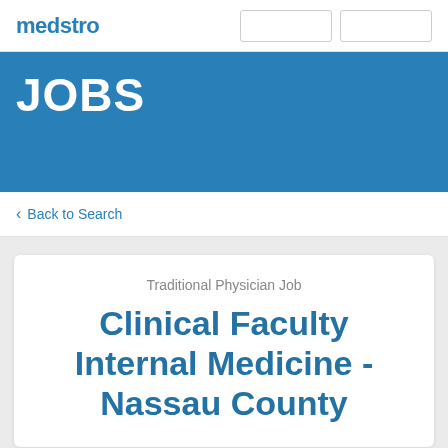medstro
JOBS
< Back to Search
Traditional Physician Job
Clinical Faculty Internal Medicine - Nassau County